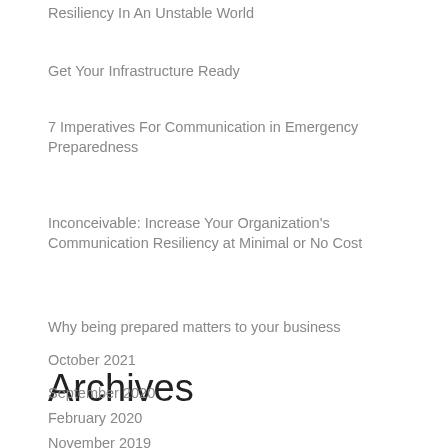Resiliency In An Unstable World
Get Your Infrastructure Ready
7 Imperatives For Communication in Emergency Preparedness
Inconceivable: Increase Your Organization's Communication Resiliency at Minimal or No Cost
Why being prepared matters to your business
Archives
October 2021
September 2020
February 2020
November 2019